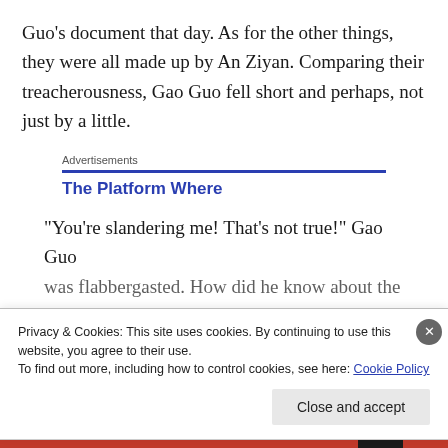Guo's document that day. As for the other things, they were all made up by An Ziyan. Comparing their treacherousness, Gao Guo fell short and perhaps, not just by a little.
Advertisements
The Platform Where
“You’re slandering me! That’s not true!” Gao Guo
was flabbergasted. How did he know about the
Privacy & Cookies: This site uses cookies. By continuing to use this website, you agree to their use.
To find out more, including how to control cookies, see here: Cookie Policy
Close and accept